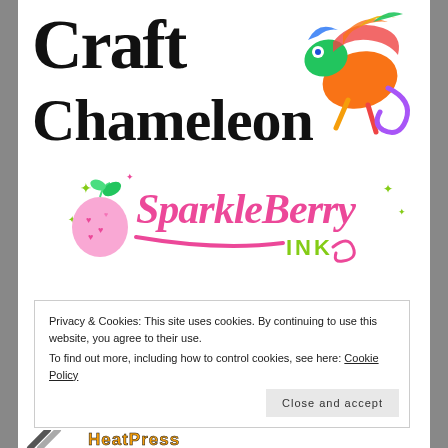[Figure (logo): Craft Chameleon logo with black stylized text and a rainbow-colored chameleon illustration on the right]
[Figure (logo): SparkleBerry Ink logo with pink script text, a pink heart-pattern apple/berry illustration, and green sparkles]
Privacy & Cookies: This site uses cookies. By continuing to use this website, you agree to their use.
To find out more, including how to control cookies, see here: Cookie Policy
[Figure (logo): HeatPress logo partially visible at bottom of page]